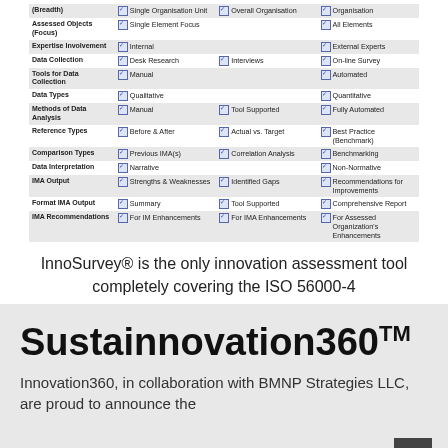|  | Col1 | Col2 | Col3 |
| --- | --- | --- | --- |
| (Breadth) | Single Organization Unit | Overall Organisation | Organisation |
| Assessed Objects (Focus) | Single Element Focus |  | All Elements |
| Expertise Involvement | Internal |  | External Experts |
| Data Collection | Desk Research | Interviews | On-line Survey |
| Tools for Data Collection | Manual |  | Automated |
| Data Types | Qualitative |  | Quantitative |
| Methods of Data Analysis | Manual | Tool Supported | Fully Automated |
| Reference Types | Before & After | Actual vs. Target | Best Practice (Benchmark) |
| Comparison Types | Previous IMA(s) | Correlation Analysis | Benchmarking |
| Data Interpretation | Narrative |  | Non-Normative |
| IMA Output | Strengths & Weaknesses | Identified Gaps | Recommendations for Improvements |
| Format IMA Output | Summary | Tool Supported | Comprehensive Report |
| IMA Recommendations | For IM Enhancements | For IMA Enhancements | For Assessed Organization's Enhancements |
InnoSurvey® is the only innovation assessment tool completely covering the ISO 56000-4
Sustainnovation360TM
Innovation360, in collaboration with BMNP Strategies LLC, are proud to announce the